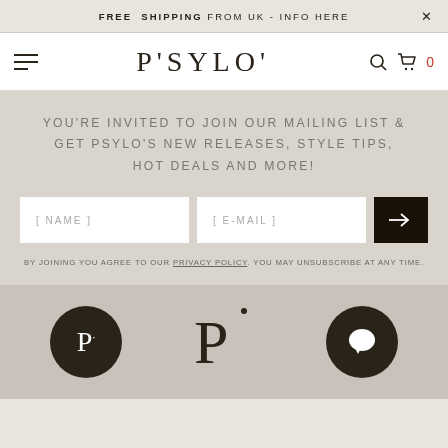FREE SHIPPING FROM UK - INFO HERE
[Figure (logo): PSYLO brand logo in serif font with navigation icons]
YOU'RE INVITED TO JOIN OUR MAILING LIST & GET PSYLO'S NEW RELEASES, STYLE TIPS, HOT DEALS AND MORE!
[ NAME ]   [ E-MAIL ]   →
BY JOINING YOU AGREE TO OUR PRIVACY POLICY. YOU MAY UNSUBSCRIBE AT ANY TIME.
[Figure (logo): Three brand logos/icons in footer: circular P logo, standalone P mark, and circular chat bubble icon]